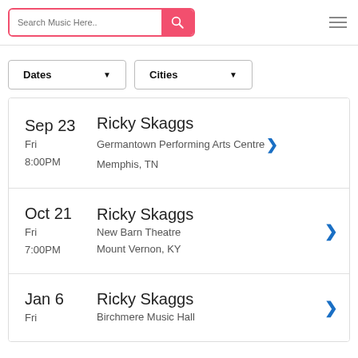Search Music Here..
Sep 23 Fri 8:00PM | Ricky Skaggs | Germantown Performing Arts Centre | Memphis, TN
Oct 21 Fri 7:00PM | Ricky Skaggs | New Barn Theatre | Mount Vernon, KY
Jan 6 Fri | Ricky Skaggs | Birchmere Music Hall